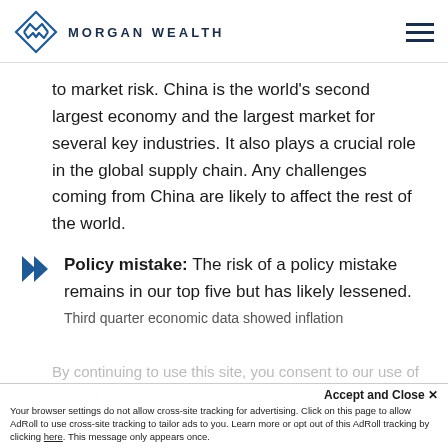MORGAN WEALTH
to market risk. China is the world's second largest economy and the largest market for several key industries. It also plays a crucial role in the global supply chain. Any challenges coming from China are likely to affect the rest of the world.
Policy mistake: The risk of a policy mistake remains in our top five but has likely lessened. Third quarter economic data showed inflation
By continuing to use this site, you consent to our use of cookies.
Accept and Close ✕
Your browser settings do not allow cross-site tracking for advertising. Click on this page to allow AdRoll to use cross-site tracking to tailor ads to you. Learn more or opt out of this AdRoll tracking by clicking here. This message only appears once.